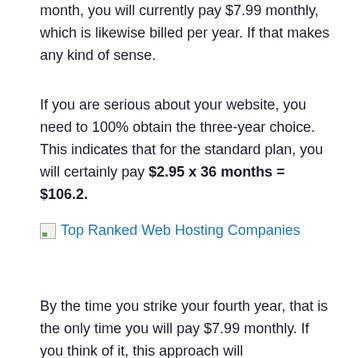month, you will currently pay $7.99 monthly, which is likewise billed per year. If that makes any kind of sense.
If you are serious about your website, you need to 100% obtain the three-year choice. This indicates that for the standard plan, you will certainly pay $2.95 x 36 months = $106.2.
[Figure (other): Broken image placeholder with link text 'Top Ranked Web Hosting Companies']
By the time you strike your fourth year, that is the only time you will pay $7.99 monthly. If you think of it, this approach will